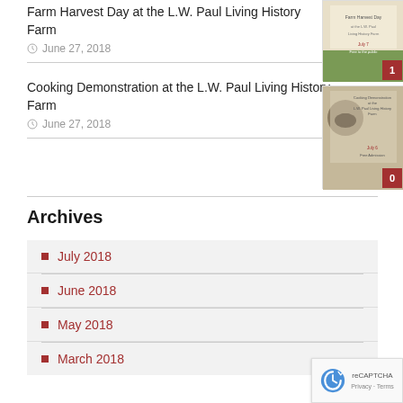Farm Harvest Day at the L.W. Paul Living History Farm
June 27, 2018
[Figure (photo): Thumbnail image with number badge 1 for Farm Harvest Day post]
Cooking Demonstration at the L.W. Paul Living History Farm
June 27, 2018
[Figure (photo): Thumbnail image with number badge 0 for Cooking Demonstration post]
Archives
July 2018
June 2018
May 2018
March 2018
[Figure (logo): reCAPTCHA badge with Privacy and Terms links]